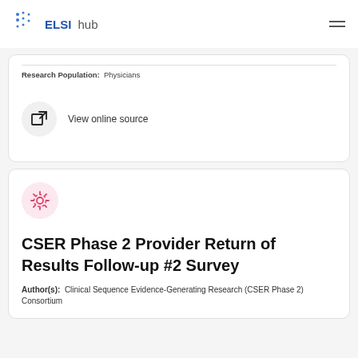ELSI hub
Research Population: Physicians
View online source
CSER Phase 2 Provider Return of Results Follow-up #2 Survey
Author(s): Clinical Sequence Evidence-Generating Research (CSER Phase 2) Consortium